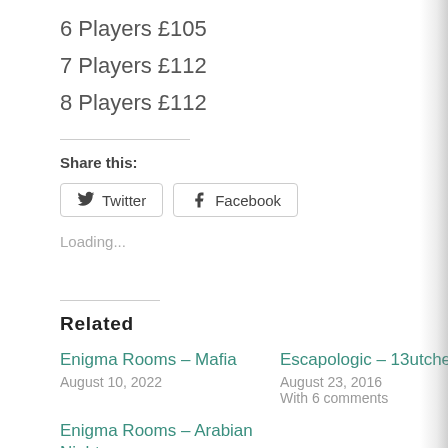6 Players £105
7 Players £112
8 Players £112
Share this:
Twitter  Facebook
Loading...
Related
Enigma Rooms – Mafia
August 10, 2022
Escapologic – 13utcher
August 23, 2016
With 6 comments
Enigma Rooms – Arabian Nights
July 24, 2022